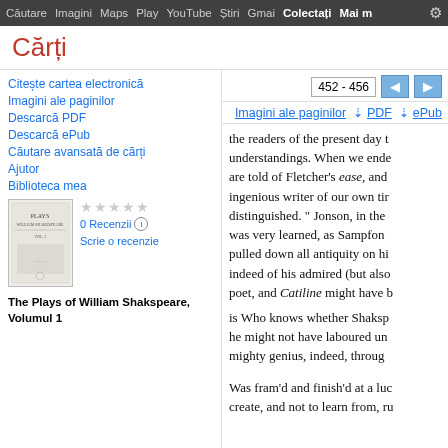Căutare  Imagini  Maps  Play  YouTube  Știri  Gmail  Colectați  Mai multe  [gear]
Cărți
Citește cartea electronică
Imagini ale paginilor
Descarcă PDF
Descarcă ePub
Căutare avansată de cărți
Ajutor
Biblioteca mea
[Figure (illustration): Book cover thumbnail for The Plays of William Shakspeare, Volumul 1]
0 Recenzii
Scrie o recenzie
The Plays of William Shakspeare, Volumul 1
452 - 456
Imagini ale paginilor   PDF   ePub
the readers of the present day t understandings. When we ende are told of Fletcher's ease, and ingenious writer of our own tir distinguished. " Jonson, in the was very learned, as Sampfon pulled down all antiquity on hi indeed of his admired (but alsc poet, and Catiline might have b
is Who knows whether Shaksp he might not have laboured un mighty genius, indeed, throug
Was fram'd and finish'd at a luc create, and not to learn from, ru